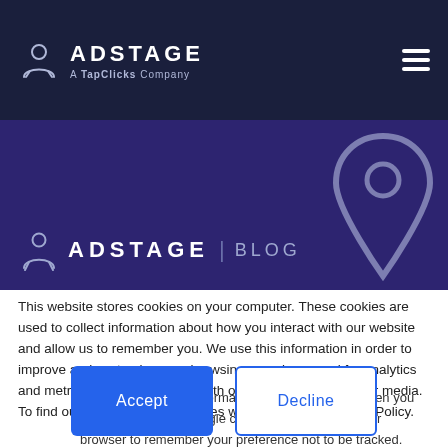ADSTAGE A TapClicks Company
[Figure (logo): AdStage Blog logo on purple banner background with location pin decoration]
This website stores cookies on your computer. These cookies are used to collect information about how you interact with our website and allow us to remember you. We use this information in order to improve and customize your browsing experience and for analytics and metrics about our visitors both on this website and other media. To find out more about the cookies we use, see our Privacy Policy.
If you decline, your information won't be tracked when you visit this website. A single cookie will be used in your browser to remember your preference not to be tracked.